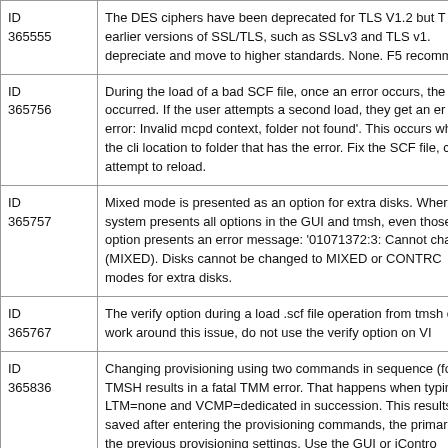| ID | Description |
| --- | --- |
| ID
365555 | The DES ciphers have been deprecated for TLS V1.2 but T... on earlier versions of SSL/TLS, such as SSLv3 and TLS v1... depreciate and move to higher standards. None. F5 recomm... |
| ID
365756 | During the load of a bad SCF file, once an error occurs, the... occurred. If the user attempts a second load, they get an er... error: Invalid mcpd context, folder not found'. This occurs wh... the cli location to folder that has the error. Fix the SCF file, c... attempt to reload. |
| ID
365757 | Mixed mode is presented as an option for extra disks. Wher... system presents all options in the GUI and tmsh, even those... option presents an error message: '01071372:3: Cannot cha... to (MIXED). Disks cannot be changed to MIXED or CONTR... modes for extra disks. |
| ID
365767 | The verify option during a load .scf file operation from tmsh c... To work around this issue, do not use the verify option on VI... |
| ID
365836 | Changing provisioning using two commands in sequence (fo... TMSH results in a fatal TMM error. That happens when typin... LTM=none and VCMP=dedicated in succession. This results... saved after entering the provisioning commands, the primar... or the previous provisioning settings. Use the GUI or iContro... |